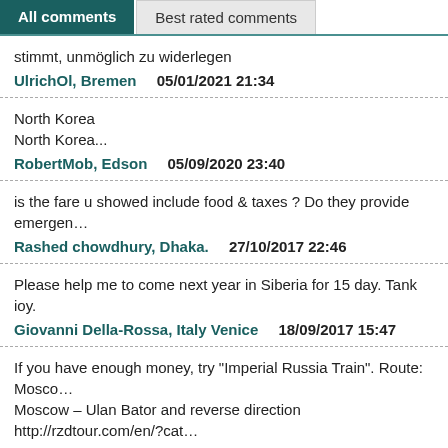All comments | Best rated comments
stimmt, unmöglich zu widerlegen
UlrichOl, Bremen    05/01/2021 21:34
North Korea
North Korea...
RobertMob, Edson    05/09/2020 23:40
is the fare u showed include food & taxes ? Do they provide emergen…
Rashed chowdhury, Dhaka.    27/10/2017 22:46
Please help me to come next year in Siberia for 15 day. Tank ioy.
Giovanni Della-Rossa, Italy Venice    18/09/2017 15:47
If you have enough money, try "Imperial Russia Train". Route: Moscow – Ulan Bator and reverse direction http://rzdtour.com/en/?cat…
ED, Russia    08/08/2016 16:04
Amazing to travel like that, I would love to go on such a trip, maybe so…
Tanya Doyle, Canada    26/07/2016 10:43